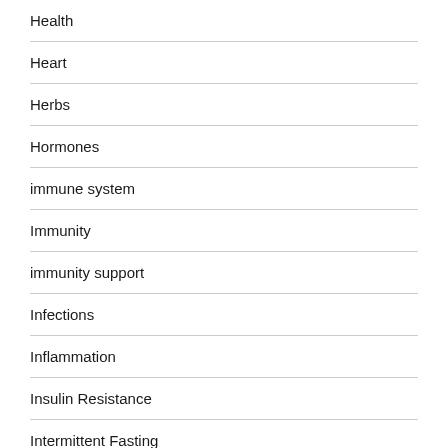Health
Heart
Herbs
Hormones
immune system
Immunity
immunity support
Infections
Inflammation
Insulin Resistance
Intermittent Fasting